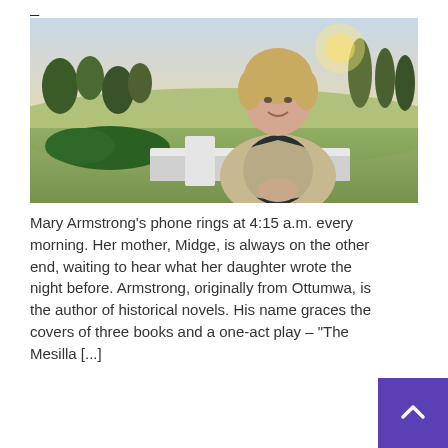... (partially visible header text)
[Figure (photo): A woman with blonde hair wearing a beige cardigan over a black top, leaning on a white railing outdoors with a golf course and trees in the background at dusk or dawn.]
Mary Armstrong's phone rings at 4:15 a.m. every morning. Her mother, Midge, is always on the other end, waiting to hear what her daughter wrote the night before. Armstrong, originally from Ottumwa, is the author of historical novels. His name graces the covers of three books and a one-act play – "The Mesilla [...]